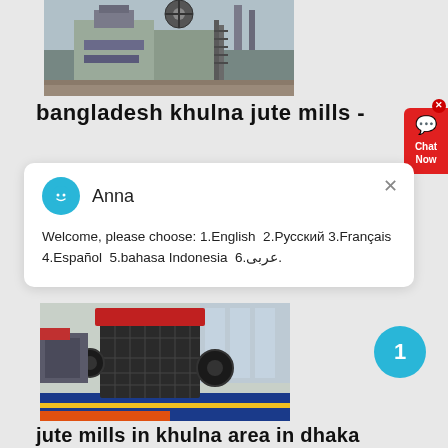[Figure (photo): Industrial mining or crushing plant machinery with stairs and equipment]
bangladesh khulna jute mills -
Welcome, please choose: 1.English  2.Русский 3.Français 4.Español  5.bahasa Indonesia  6.عربی.
[Figure (photo): Industrial impact crusher machine in a factory setting with colorful floor]
jute mills in khulna area in dhaka bangladesh